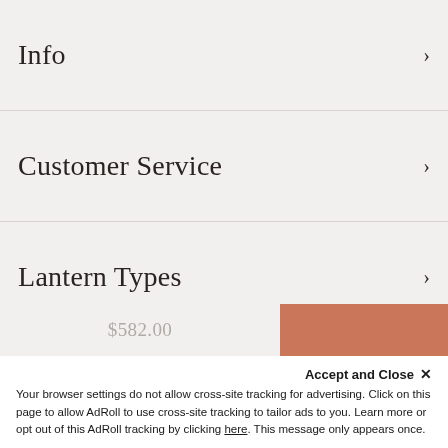Info ›
Customer Service ›
Lantern Types ›
Styles ›
$582.00
Accept and Close ✕
Your browser settings do not allow cross-site tracking for advertising. Click on this page to allow AdRoll to use cross-site tracking to tailor ads to you. Learn more or opt out of this AdRoll tracking by clicking here. This message only appears once.